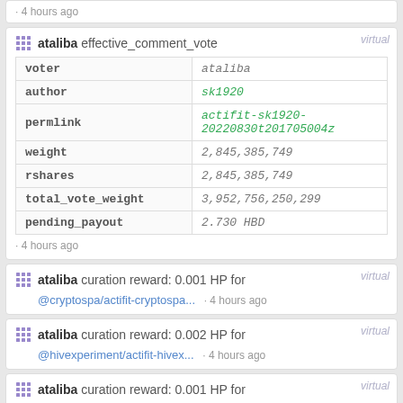4 hours ago
| key | value |
| --- | --- |
| voter | ataliba |
| author | sk1920 |
| permlink | actifit-sk1920-20220830t201705004z |
| weight | 2,845,385,749 |
| rshares | 2,845,385,749 |
| total_vote_weight | 3,952,756,250,299 |
| pending_payout | 2.730 HBD |
ataliba effective_comment_vote
· 4 hours ago
ataliba curation reward: 0.001 HP for @cryptospa/actifit-cryptospa... · 4 hours ago
ataliba curation reward: 0.002 HP for @hivexperiment/actifit-hivex... · 4 hours ago
ataliba curation reward: 0.001 HP for @carrinm/actifit-carrinm-202... · 4 hours ago
ataliba upvote @ajansen/actifit-ajansen-20220830t193904765z (15%) · 4 hours ago